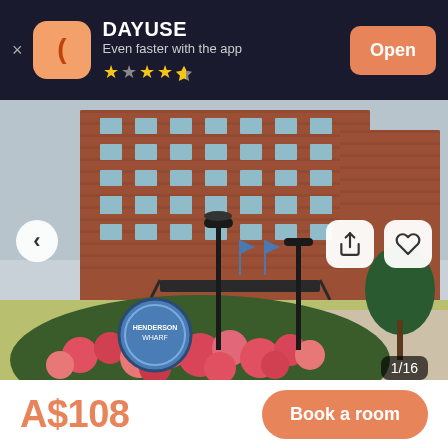[Figure (screenshot): App install banner for DAYUSE app with dark navy background, orange app icon with bracket/parenthesis logo, app name DAYUSE, tagline 'Even faster with the app', 3.5 star rating, and orange Open button]
[Figure (photo): Hotel exterior photo showing a large red-brick building (Henderson Wharf hotel) with ornate black lamp posts, colorful flower garden in foreground with pink and red flowers, and a circular garden sign. Image counter shows 1/16.]
A$108
Book a room